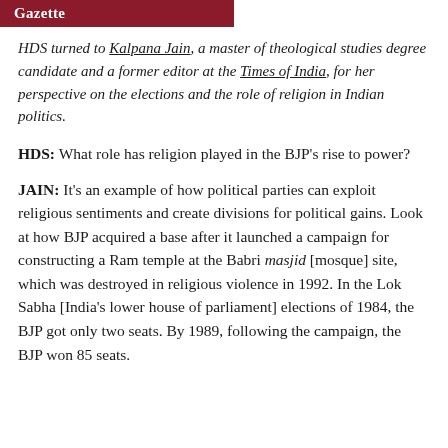Gazette
HDS turned to Kalpana Jain, a master of theological studies degree candidate and a former editor at the Times of India, for her perspective on the elections and the role of religion in Indian politics.
HDS: What role has religion played in the BJP's rise to power?
JAIN: It's an example of how political parties can exploit religious sentiments and create divisions for political gains. Look at how BJP acquired a base after it launched a campaign for constructing a Ram temple at the Babri masjid [mosque] site, which was destroyed in religious violence in 1992. In the Lok Sabha [India's lower house of parliament] elections of 1984, the BJP got only two seats. By 1989, following the campaign, the BJP won 85 seats.